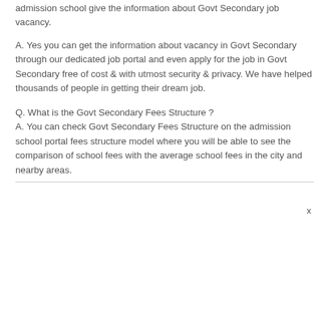admission school give the information about Govt Secondary job vacancy.
A. Yes you can get the information about vacancy in Govt Secondary through our dedicated job portal and even apply for the job in Govt Secondary free of cost & with utmost security & privacy. We have helped thousands of people in getting their dream job.
Q. What is the Govt Secondary Fees Structure ?
A. You can check Govt Secondary Fees Structure on the admission school portal fees structure model where you will be able to see the comparison of school fees with the average school fees in the city and nearby areas.